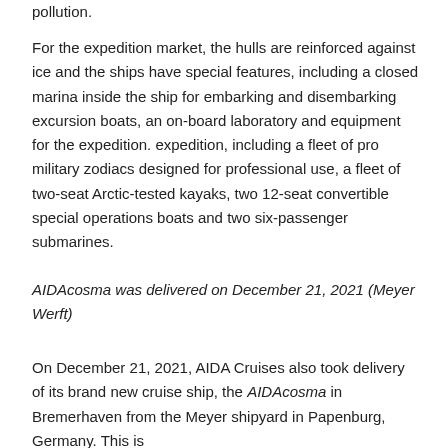pollution.
For the expedition market, the hulls are reinforced against ice and the ships have special features, including a closed marina inside the ship for embarking and disembarking excursion boats, an on-board laboratory and equipment for the expedition. expedition, including a fleet of pro military zodiacs designed for professional use, a fleet of two-seat Arctic-tested kayaks, two 12-seat convertible special operations boats and two six-passenger submarines.
AIDAcosma was delivered on December 21, 2021 (Meyer Werft)
On December 21, 2021, AIDA Cruises also took delivery of its brand new cruise ship, the AIDAcosma in Bremerhaven from the Meyer shipyard in Papenburg, Germany. This is